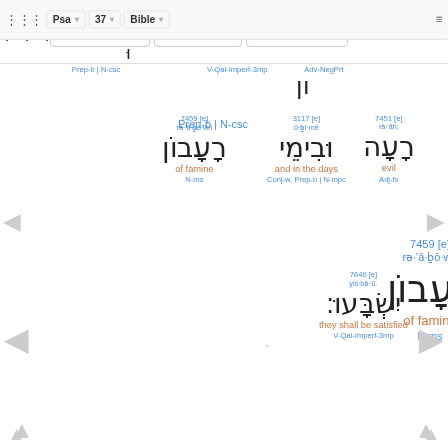Psa 37 Bible
Prep-b | N-csc    V-Qal-Imperf-3mp    Adv-NegPrt
7459 [e] rə·'ā·ḇō·wn רָעָבוֹן of famine N-ms
3117 [e] ū·ḇî·mê וּבִימֵי and in the days Conj-w, Prep-b | N-mpc
7451 [e] rā·'āh; רָעָה evil Adj-fs
7646 [e] yiś·bā·'ū. יִשְׂבָּעוּ׃ they shall be satisfied V-Qal-Imperf-3mp